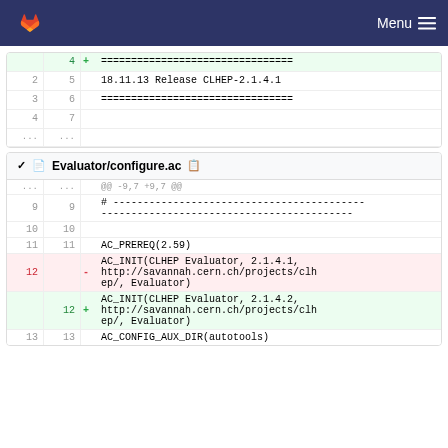GitLab Menu
| old_line | new_line | sign | content |
| --- | --- | --- | --- |
|  | 4 | + | ================================= |
| 2 | 5 |  | 18.11.13 Release CLHEP-2.1.4.1 |
| 3 | 6 |  | ================================= |
| 4 | 7 |  |  |
| ... | ... |  |  |
Evaluator/configure.ac
| old_line | new_line | sign | content |
| --- | --- | --- | --- |
| ... | ... |  | @@ -9,7 +9,7 @@ |
| 9 | 9 |  | # -------------------------------------------------- |
| 10 | 10 |  |  |
| 11 | 11 |  | AC_PREREQ(2.59) |
| 12 |  | - | AC_INIT(CLHEP Evaluator, 2.1.4.1, http://savannah.cern.ch/projects/clhep/, Evaluator) |
|  | 12 | + | AC_INIT(CLHEP Evaluator, 2.1.4.2, http://savannah.cern.ch/projects/clhep/, Evaluator) |
| 13 | 13 |  | AC_CONFIG_AUX_DIR(autotools) |